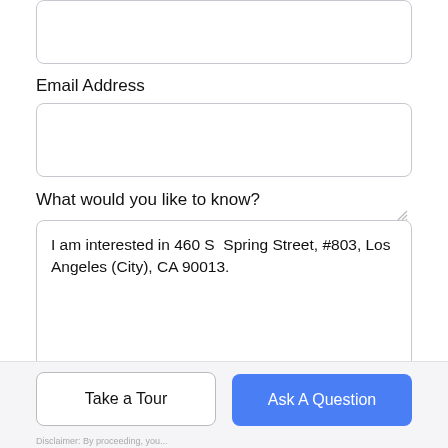Email Address
What would you like to know?
I am interested in 460 S  Spring Street, #803, Los Angeles (City), CA 90013.
Tour in Person
Tour Via Video Chat
Take a Tour
Ask A Question